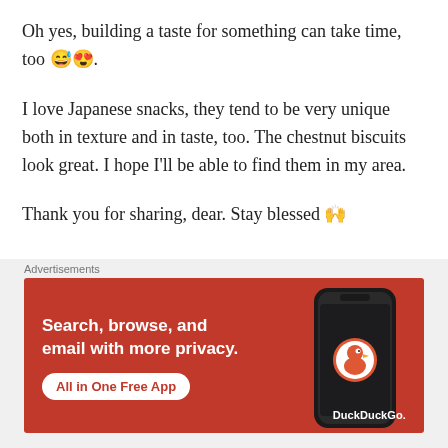Oh yes, building a taste for something can take time, too 😅😍.
I love Japanese snacks, they tend to be very unique both in texture and in taste, too. The chestnut biscuits look great. I hope I'll be able to find them in my area.
Thank you for sharing, dear. Stay blessed 🙌
★ Liked by 1 person
[Figure (screenshot): DuckDuckGo advertisement banner: orange/red background with white text 'Search, browse, and email with more privacy.' and 'All in One Free App' button, alongside a phone graphic with the DuckDuckGo logo]